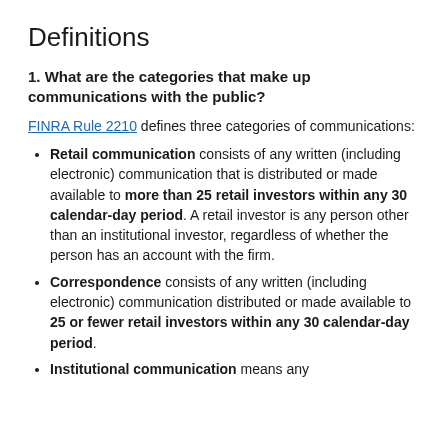Definitions
1. What are the categories that make up communications with the public?
FINRA Rule 2210 defines three categories of communications:
Retail communication consists of any written (including electronic) communication that is distributed or made available to more than 25 retail investors within any 30 calendar-day period. A retail investor is any person other than an institutional investor, regardless of whether the person has an account with the firm.
Correspondence consists of any written (including electronic) communication distributed or made available to 25 or fewer retail investors within any 30 calendar-day period.
Institutional communication means any